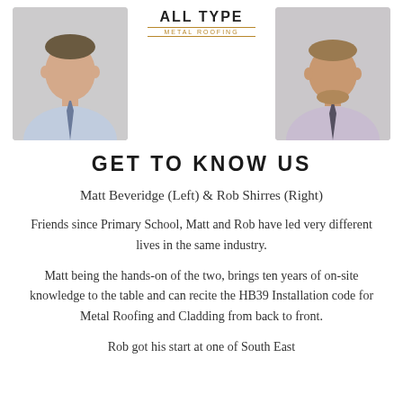[Figure (photo): Two portrait photos side by side: a man in a light blue shirt with a tie on the left, and a man in a light purple shirt with a tie on the right. Between them at the top is the All Type Metal Roofing logo.]
GET TO KNOW US
Matt Beveridge (Left) & Rob Shirres (Right)
Friends since Primary School, Matt and Rob have led very different lives in the same industry.
Matt being the hands-on of the two, brings ten years of on-site knowledge to the table and can recite the HB39 Installation code for Metal Roofing and Cladding from back to front.
Rob got his start at one of South East